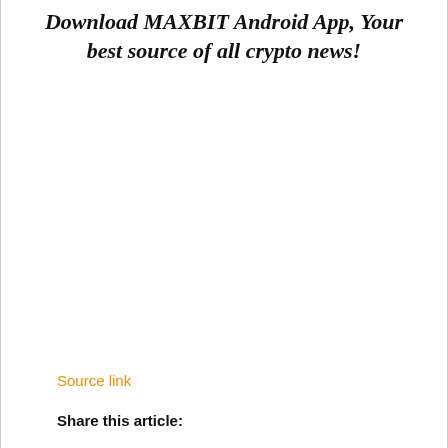Download MAXBIT Android App, Your best source of all crypto news!
Source link
Share this article: